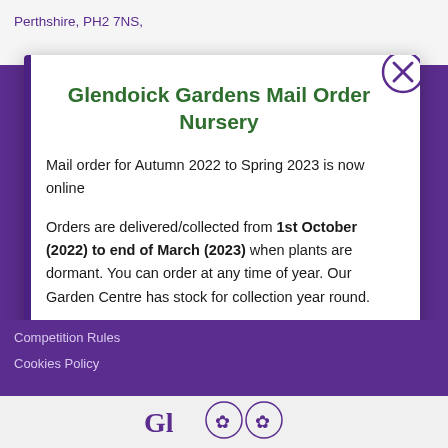Perthshire, PH2 7NS,
Glendoick Gardens Mail Order Nursery
Mail order for Autumn 2022 to Spring 2023 is now online
Orders are delivered/collected from 1st October (2022) to end of March (2023) when plants are dormant. You can order at any time of year. Our Garden Centre has stock for collection year round.
We deliver to UK including N Ireland and Norway. We cannot deliver to EU.
Competition Rules
Cookies Policy